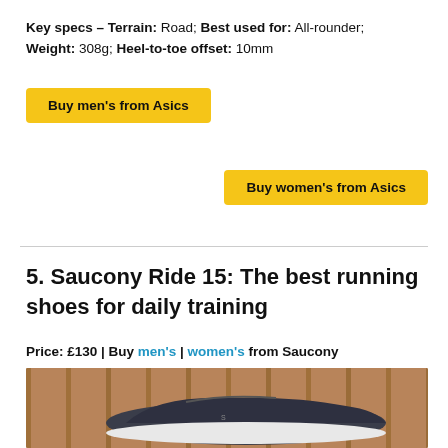Key specs – Terrain: Road; Best used for: All-rounder; Weight: 308g; Heel-to-toe offset: 10mm
Buy men's from Asics
Buy women's from Asics
5. Saucony Ride 15: The best running shoes for daily training
Price: £130 | Buy men's | women's from Saucony
[Figure (photo): Photo of a dark grey Saucony Ride 15 running shoe with white sole, photographed against a wooden fence background]